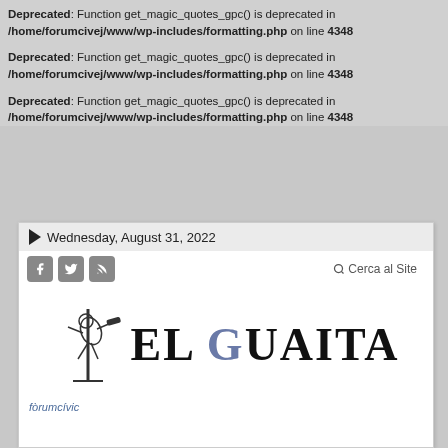Deprecated: Function get_magic_quotes_gpc() is deprecated in /home/forumcivej/www/wp-includes/formatting.php on line 4348
Deprecated: Function get_magic_quotes_gpc() is deprecated in /home/forumcivej/www/wp-includes/formatting.php on line 4348
Deprecated: Function get_magic_quotes_gpc() is deprecated in /home/forumcivej/www/wp-includes/formatting.php on line 4348
[Figure (screenshot): Website header for 'El Guaita' with date Wednesday, August 31, 2022, social media icons (Facebook, Twitter, RSS), search link 'Cerca al Site', logo with illustrated figure and 'EL GUAITA' text, and 'forumcivic' footer link.]